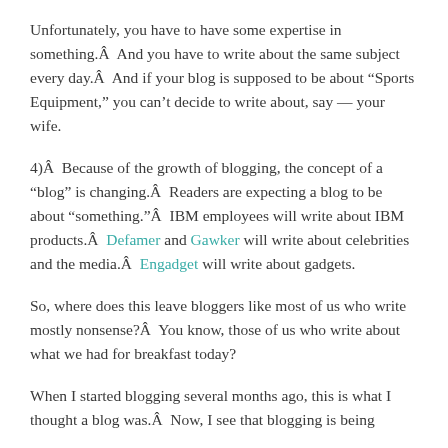Unfortunately, you have to have some expertise in something.Â  And you have to write about the same subject every day.Â  And if your blog is supposed to be about “Sports Equipment,” you can’t decide to write about, say — your wife.
4)Â  Because of the growth of blogging, the concept of a “blog” is changing.Â  Readers are expecting a blog to be about “something.”Â  IBM employees will write about IBM products.Â  Defamer and Gawker will write about celebrities and the media.Â  Engadget will write about gadgets.
So, where does this leave bloggers like most of us who write mostly nonsense?Â  You know, those of us who write about what we had for breakfast today?
When I started blogging several months ago, this is what I thought a blog was.Â  Now, I see that blogging is being